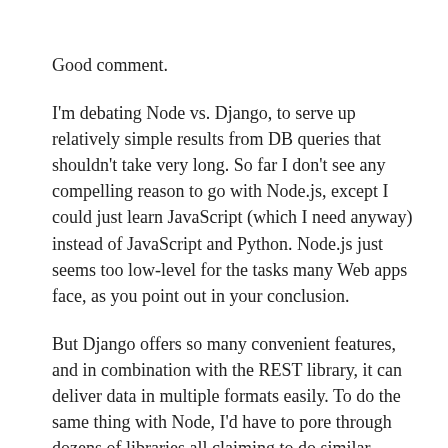Good comment.
I'm debating Node vs. Django, to serve up relatively simple results from DB queries that shouldn't take very long. So far I don't see any compelling reason to go with Node.js, except I could just learn JavaScript (which I need anyway) instead of JavaScript and Python. Node.js just seems too low-level for the tasks many Web apps face, as you point out in your conclusion.
But Django offers so many convenient features, and in combination with the REST library, it can deliver data in multiple formats easily. To do the same thing with Node, I'd have to pore through dozens of libraries all claiming to do similar things, and cobble something together.
Reply ↓